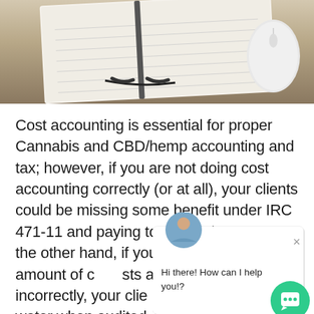[Figure (photo): Photo of an open notebook/planner with a computer mouse on a wooden desk surface]
Cost accounting is essential for proper Cannabis and CBD/hemp accounting and tax; however, if you are not doing cost accounting correctly (or at all), your clients could be missing some benefit under IRC 471-11 and paying too much in taxes. On the other hand, if you claim a significant amount of costs allocated to inventory incorrectly, your clients could be in hot water when audited, and potentially owe thousands of dollars in back taxes, interest, and penalties.
[Figure (screenshot): Chat widget overlay with avatar of a man in blue shirt, close button (×), and message 'Hi there! How can I help you!?' with green chat bubble button in corner]